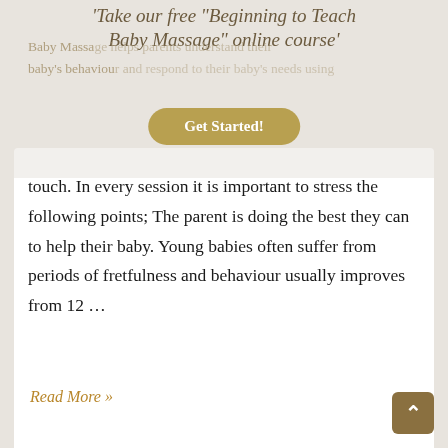Take our free "Beginning to Teach Baby Massage" online course
Baby Massage helps parents understand their baby's behaviour and respond to their baby's needs using touch. In every session it is important to stress the following points; The parent is doing the best they can to help their baby. Young babies often suffer from periods of fretfulness and behaviour usually improves from 12 …
Get Started!
Read More »
[Figure (photo): A parent leaning close to a baby, appearing to kiss or nuzzle the baby who is reaching up with a hand]